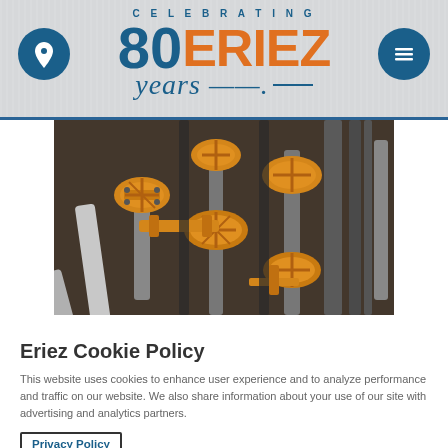Eriez - Celebrating 80 Years
[Figure (photo): Industrial orange and black pipe valves and fittings machinery, close-up industrial equipment photograph]
Eriez Cookie Policy
This website uses cookies to enhance user experience and to analyze performance and traffic on our website. We also share information about your use of our site with advertising and analytics partners.
Privacy Policy